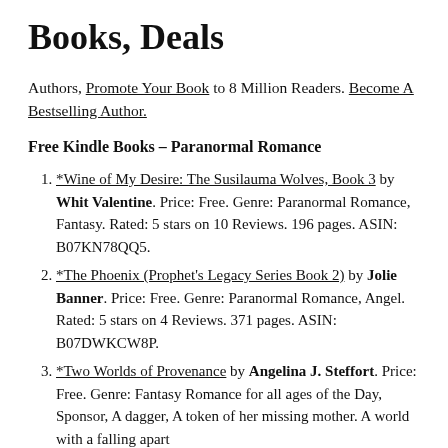Books, Deals
Authors, Promote Your Book to 8 Million Readers. Become A Bestselling Author.
Free Kindle Books – Paranormal Romance
*Wine of My Desire: The Susilauma Wolves, Book 3 by Whit Valentine. Price: Free. Genre: Paranormal Romance, Fantasy. Rated: 5 stars on 10 Reviews. 196 pages. ASIN: B07KN78QQ5.
*The Phoenix (Prophet's Legacy Series Book 2) by Jolie Banner. Price: Free. Genre: Paranormal Romance, Angel. Rated: 5 stars on 4 Reviews. 371 pages. ASIN: B07DWKCW8P.
*Two Worlds of Provenance by Angelina J. Steffort. Price: Free. Genre: Fantasy Romance for all ages of the Day, Sponsor, A dagger, A token of her missing mother. A world with a falling apart